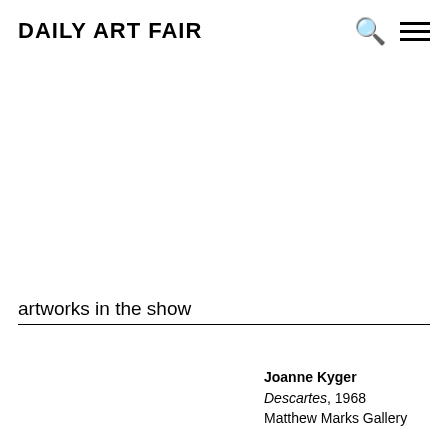Daily Art Fair
artworks in the show
Joanne Kyger
Descartes, 1968
Matthew Marks Gallery